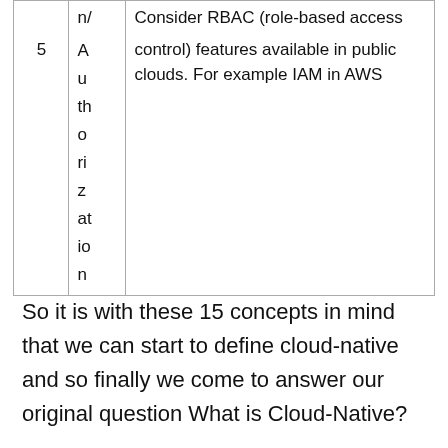|  | n/ | Consider RBAC (role-based access |
| 5 | Authorization | control) features available in public clouds. For example IAM in AWS |
So it is with these 15 concepts in mind that we can start to define cloud-native and so finally we come to answer our original question What is Cloud-Native?